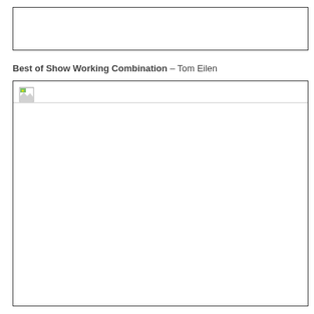[Figure (other): Empty bordered box at top of page, appears to be a placeholder or cropped image area]
Best of Show Working Combination – Tom Eilen
[Figure (photo): Broken/missing image placeholder with small icon in top-left corner, large white empty area below a thin horizontal line]